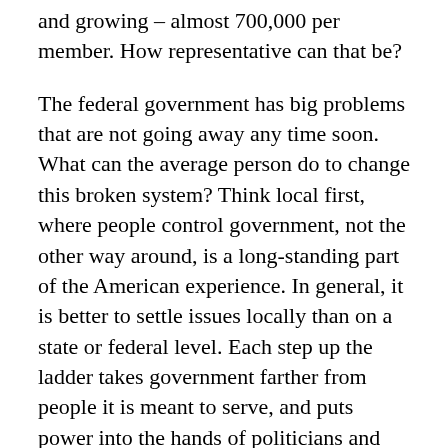and growing – almost 700,000 per member. How representative can that be?
The federal government has big problems that are not going away any time soon. What can the average person do to change this broken system? Think local first, where people control government, not the other way around, is a long-standing part of the American experience. In general, it is better to settle issues locally than on a state or federal level. Each step up the ladder takes government farther from people it is meant to serve, and puts power into the hands of politicians and unelected bureaucrats who believe they have the best answers.
Local control is not popular today among political nobility, but it is how our system is supposed to work. Defending local government means defending American sovereignty against those who think people can be ruled over. Should people know what transpires behind closed